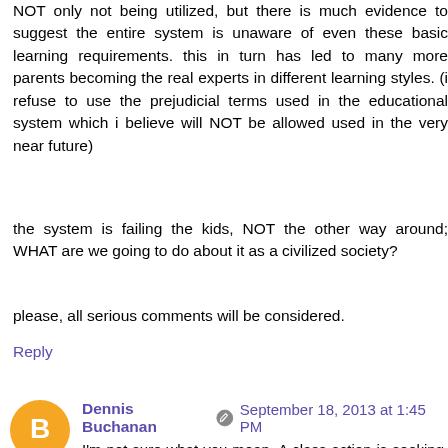NOT only not being utilized, but there is much evidence to suggest the entire system is unaware of even these basic learning requirements. this in turn has led to many more parents becoming the real experts in different learning styles. (i refuse to use the prejudicial terms used in the educational system which i believe will NOT be allowed used in the very near future)
the system is failing the kids, NOT the other way around; WHAT are we going to do about it as a civilized society?
please, all serious comments will be considered.
Reply
Dennis Buchanan  September 18, 2013 at 1:45 PM
I'm not sure what you mean. A class action is seeking a remedy on behalf of a group of similarly aggrieved persons...it would not be a mechanism to "get support".
Even if I assume that you're right that the current system isn't serving the needs of all kids (anecdotally, I have